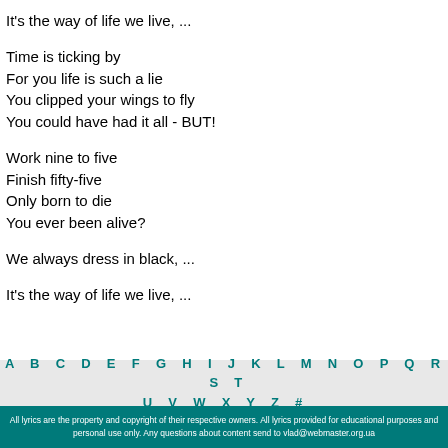It's the way of life we live, ...
Time is ticking by
For you life is such a lie
You clipped your wings to fly
You could have had it all - BUT!
Work nine to five
Finish fifty-five
Only born to die
You ever been alive?
We always dress in black, ...
It's the way of life we live, ...
A B C D E F G H I J K L M N O P Q R S T
U V W X Y Z #
All lyrics are the property and copyright of their respective owners. All lyrics provided for educational purposes and personal use only. Any questions about content send to vlad@webmaster.org.ua